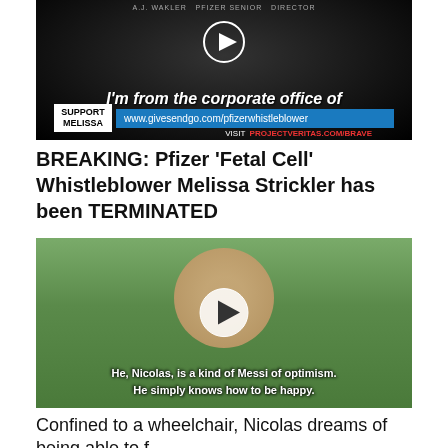[Figure (screenshot): Video thumbnail with dark background showing text 'I'm from the corporate office of' and a support bar with GiveSendGo URL for Pfizer whistleblower]
BREAKING: Pfizer 'Fetal Cell' Whistleblower Melissa Strickler has been TERMINATED
[Figure (screenshot): Video thumbnail showing a smiling boy outdoors with subtitle: 'He, Nicolas, is a kind of Messi of optimism. He simply knows how to be happy.' with a play button overlay]
Confined to a wheelchair, Nicolas dreams of being able to f